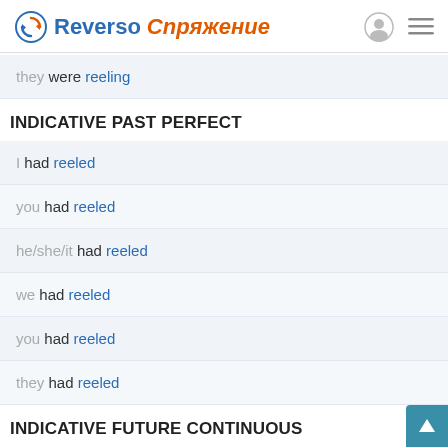Reverso Спряжение
they were reeling
INDICATIVE PAST PERFECT
I had reeled
you had reeled
he/she/it had reeled
we had reeled
you had reeled
they had reeled
INDICATIVE FUTURE CONTINUOUS